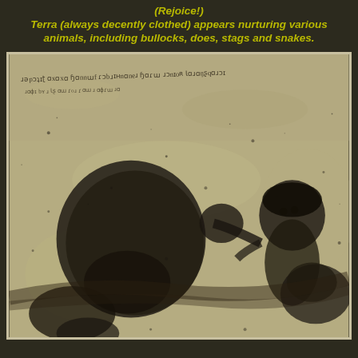(Rejoice!) Terra (always decently clothed) appears nurturing various animals, including bullocks, does, stags and snakes.
[Figure (photo): A grainy black-and-white photograph of an ancient manuscript or fresco depicting a figure (Terra) nurturing animals, with Greek or Latin script visible at the top of the image. The scene shows a human figure interacting with large rounded animal forms against a textured background.]